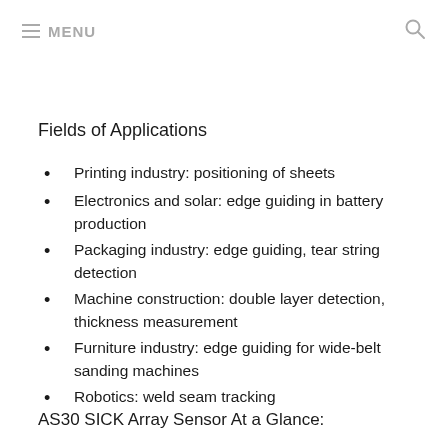≡ MENU
Fields of Applications
Printing industry: positioning of sheets
Electronics and solar: edge guiding in battery production
Packaging industry: edge guiding, tear string detection
Machine construction: double layer detection, thickness measurement
Furniture industry: edge guiding for wide-belt sanding machines
Robotics: weld seam tracking
AS30 SICK Array Sensor At a Glance: